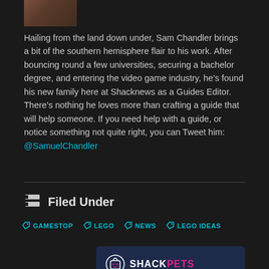[Figure (photo): Small profile avatar photo of Sam Chandler, partially cropped at top of page]
Hailing from the land down under, Sam Chandler brings a bit of the southern hemisphere flair to his work. After bouncing round a few universities, securing a bachelor degree, and entering the video game industry, he's found his new family here at Shacknews as a Guides Editor. There's nothing he loves more than crafting a guide that will help someone. If you need help with a guide, or notice something not quite right, you can Tweet him: @SamuelChandler
Filed Under
GAMESTOP
LEGO
NEWS
LEGO IDEAS
[Figure (advertisement): ShackPets promotional banner with logo, title 'The Ultimate Battle for Cuteness', subtitle 'Swipe your pet to victory!']